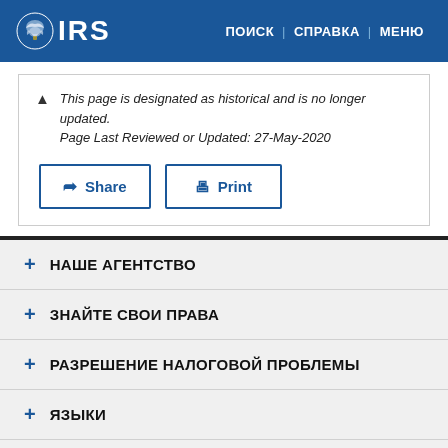IRS | ПОИСК | СПРАВКА | МЕНЮ
This page is designated as historical and is no longer updated. Page Last Reviewed or Updated: 27-May-2020
Share | Print
+ НАШЕ АГЕНТСТВО
+ ЗНАЙТЕ СВОИ ПРАВА
+ РАЗРЕШЕНИЕ НАЛОГОВОЙ ПРОБЛЕМЫ
+ ЯЗЫКИ
+ ВЗАИМОСВЯЗАННЫЕ ВЕБ-САЙТЫ